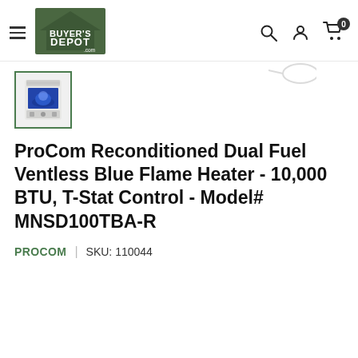[Figure (logo): Buyer's Depot .com logo — dark green house shape with white text BUYER'S DEPOT.com]
[Figure (photo): Small thumbnail of ProCom blue flame heater, white unit with blue flame visible, green border]
ProCom Reconditioned Dual Fuel Ventless Blue Flame Heater - 10,000 BTU, T-Stat Control - Model# MNSD100TBA-R
PROCOM  |  SKU: 110044